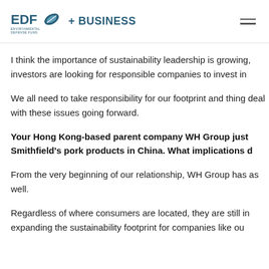EDF + BUSINESS
I think the importance of sustainability leadership is growing, investors are looking for responsible companies to invest in
We all need to take responsibility for our footprint and things deal with these issues going forward.
Your Hong Kong-based parent company WH Group just Smithfield’s pork products in China. What implications d
From the very beginning of our relationship, WH Group has as well.
Regardless of where consumers are located, they are still in expanding the sustainability footprint for companies like ou